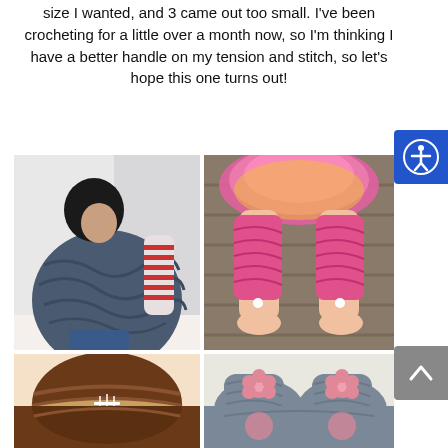size I wanted, and 3 came out too small. I've been crocheting for a little over a month now, so I'm thinking I have a better handle on my tension and stitch, so let's hope this one turns out!
[Figure (photo): A 2x2 grid of crochet item photos: top-left shows a woman wearing a large gray crochet wrap/cowl with a striped shirt; top-right shows a young child wearing pink crochet leg warmers with a pink tutu skirt; bottom-left shows a brown crochet football-style hat; bottom-right shows gray crochet booties/slippers with pink flower embellishments.]